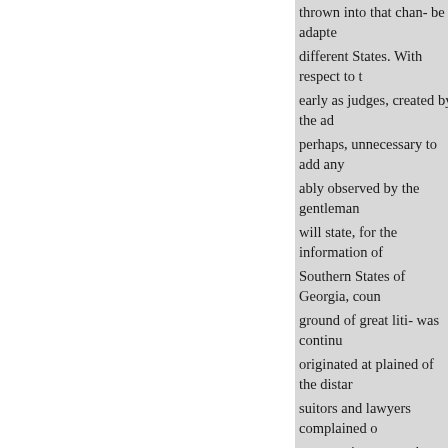thrown into that chan- be adapted to the different States. With respect to the early as judges, created by the ad perhaps, unnecessary to add any ably observed by the gentleman will state, for the information of Southern States of Georgia, coun ground of great liti- was continu originated at plained of the distan suitors and lawyers complained memory is correct, the law passe attend with the district ther of th modificaStates tributary to them, putes. South Carolina bad purcha $50,000, and had therefore dried in that State.

failed of attendance, or if he and any point, a delay was occasione attended the same circuit at Our so on, till earnings of property ha British demands, whilst their for taken from them by British arms

try twice in each year, and to en